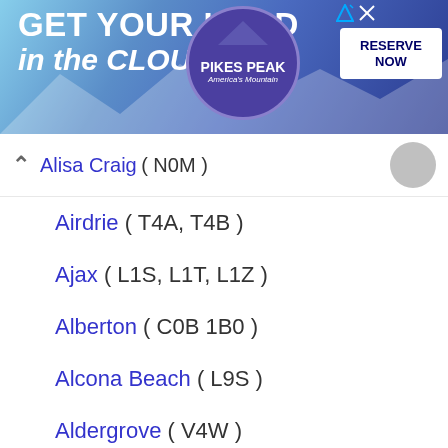[Figure (infographic): Advertisement banner for Pikes Peak America's Mountain with text 'GET YOUR HEAD in the CLOUDS', a circular purple badge with 'PIKES PEAK America's Mountain', and a 'RESERVE NOW' button]
Alisa Craig ( N0M )
Airdrie ( T4A, T4B )
Ajax ( L1S, L1T, L1Z )
Alberton ( C0B 1B0 )
Alcona Beach ( L9S )
Aldergrove ( V4W )
Alert Bay ( V0N 1A0 )
Alexandria ( K0C )